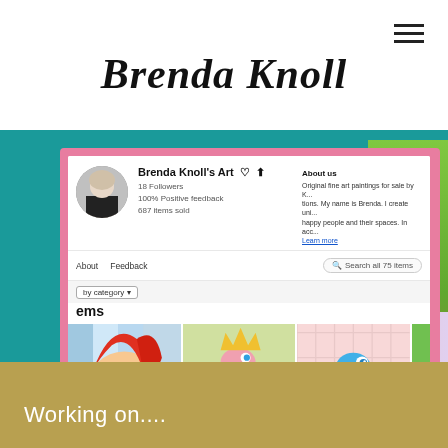Brenda Knoll
[Figure (screenshot): Screenshot of Brenda Knoll's Art eBay store page showing profile photo, store stats (18 Followers, 100% Positive Feedback, 687 items sold), navigation links (About, Feedback), search box, category filter, items header, and three artwork thumbnail images including colorful character paintings and dinosaur illustrations. Windows taskbar visible at bottom.]
Working on....